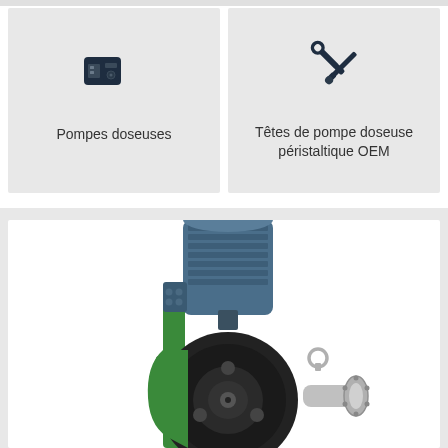[Figure (infographic): Card with controller/pump icon and label 'Pompes doseuses']
Pompes doseuses
[Figure (infographic): Card with wrench/tools icon and label 'Têtes de pompe doseuse péristaltique OEM']
Têtes de pompe doseuse péristaltique OEM
[Figure (photo): Photo of an industrial peristaltic dosing pump with blue electric motor on top and green pump body with black hose section]